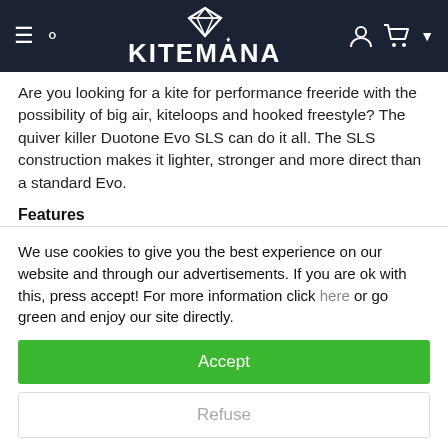KITEMANA
Are you looking for a kite for performance freeride with the possibility of big air, kiteloops and hooked freestyle? The quiver killer Duotone Evo SLS can do it all. The SLS construction makes it lighter, stronger and more direct than a standard Evo.
Features
Duotone Evo SLS 2022
Freeride | Big Air | hooked
Three struts
High Performance Evo
We use cookies to give you the best experience on our website and through our advertisements. If you are ok with this, press accept! For more information click here or go green and enjoy our site directly.